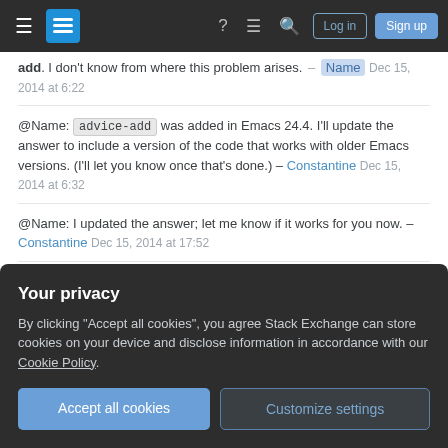Stack Exchange navigation bar with hamburger menu, logo, help, chat, search, Log in, Sign up
add. I don't know from where this problem arises. – Name Dec 15, 2014 at 6:22
@Name: advice-add was added in Emacs 24.4. I'll update the answer to include a version of the code that works with older Emacs versions. (I'll let you know once that's done.) – Constantine Dec 15, 2014 at 6:32
@Name: I updated the answer; let me know if it works for you now. – Constantine Dec 15, 2014 at 17:52
+1000 for this wonderful answer, it works perfect. – Name Dec 16, 2014 at 10:29
Add a comment
Your privacy
By clicking "Accept all cookies", you agree Stack Exchange can store cookies on your device and disclose information in accordance with our Cookie Policy.
Accept all cookies
Customize settings